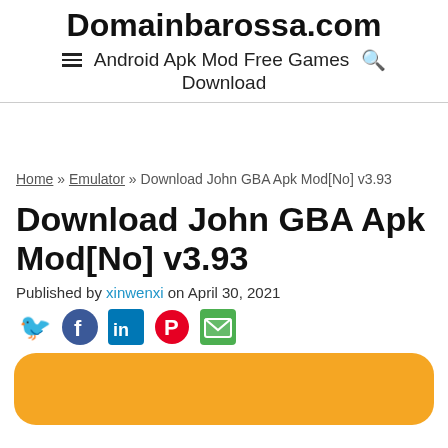Domainbarossa.com — Android Apk Mod Free Games Download
Home » Emulator » Download John GBA Apk Mod[No] v3.93
Download John GBA Apk Mod[No] v3.93
Published by xinwenxi on April 30, 2021
[Figure (infographic): Social sharing icons: Twitter (blue bird), Facebook (blue f), LinkedIn (blue in), Pinterest (red P), Email (green envelope)]
[Figure (other): Orange rounded rectangle card/banner area at bottom of page]